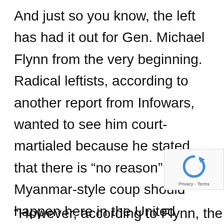And just so you know, the left has had it out for Gen. Michael Flynn from the very beginning. Radical leftists, according to another report from Infowars, wanted to see him court-martialed because he stated that there is “no reason” a Myanmar-style coup should happen here in the United States.
When Flynn, a retired U.S. Marine, was attending a conference he said, “Why what happened in Myanmar can’t happen here?” Flynn said, “No reason it should happen here.”
“However, according to Flynn, the comment was
[Figure (logo): reCAPTCHA privacy badge with blue circular arrow icon and Privacy - Terms text]